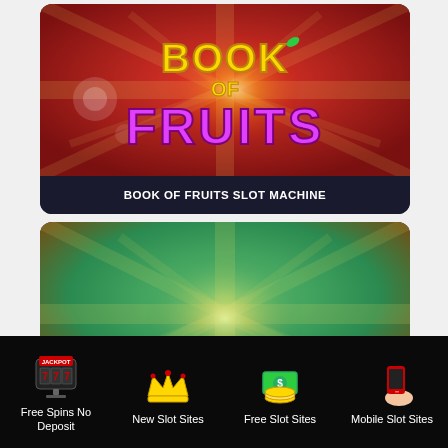[Figure (screenshot): Book of Fruits slot machine game promotional image with red background and starburst effect, yellow and pink text reading BOOK OF FRUITS]
BOOK OF FRUITS SLOT MACHINE
[Figure (screenshot): Second slot machine game promotional image with teal/green background and starburst effect, gold text reading BOOK OF]
Free Spins No Deposit
New Slot Sites
Free Slot Sites
Mobile Slot Sites